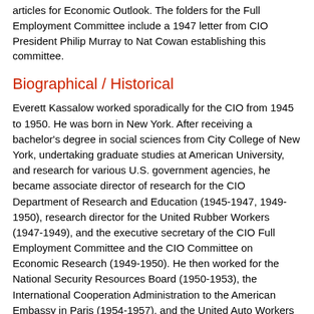articles for Economic Outlook. The folders for the Full Employment Committee include a 1947 letter from CIO President Philip Murray to Nat Cowan establishing this committee.
Biographical / Historical
Everett Kassalow worked sporadically for the CIO from 1945 to 1950. He was born in New York. After receiving a bachelor's degree in social sciences from City College of New York, undertaking graduate studies at American University, and research for various U.S. government agencies, he became associate director of research for the CIO Department of Research and Education (1945-1947, 1949-1950), research director for the United Rubber Workers (1947-1949), and the executive secretary of the CIO Full Employment Committee and the CIO Committee on Economic Research (1949-1950). He then worked for the National Security Resources Board (1950-1953), the International Cooperation Administration to the American Embassy in Paris (1954-1957), and the United Auto Workers (1957-1958). In 1958, he joined the AFL-CIO's Industrial Union Department.